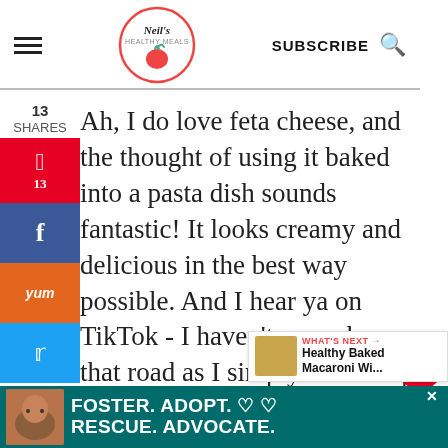Neil's Healthy Meals – SUBSCRIBE
Ah, I do love feta cheese, and the thought of using it baked into a pasta dish sounds fantastic! It looks creamy and delicious in the best way possible. And I hear ya on TikTok - I haven't gone down that road as I simply can't keep up with everything. Good thing we have our better half to help us out! Haha - have a good w...
[Figure (infographic): Social sharing sidebar with Pinterest (13), Facebook, Yummly, Twitter buttons on left side of page]
[Figure (infographic): Right side floating widgets: heart/save button with count 17, and share button]
[Figure (infographic): What's Next panel: thumbnail image with text 'Healthy Baked Macaroni Wi...']
[Figure (infographic): Advertisement banner: dog photo with text FOSTER. ADOPT. RESCUE. ADVOCATE. with heart icons]